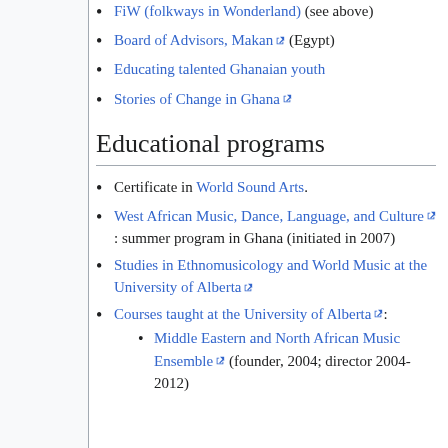FiW (folkways in Wonderland) (see above)
Board of Advisors, Makan [external link] (Egypt)
Educating talented Ghanaian youth
Stories of Change in Ghana [external link]
Educational programs
Certificate in World Sound Arts.
West African Music, Dance, Language, and Culture [external link]: summer program in Ghana (initiated in 2007)
Studies in Ethnomusicology and World Music at the University of Alberta [external link]
Courses taught at the University of Alberta [external link]:
Middle Eastern and North African Music Ensemble [external link] (founder, 2004; director 2004-2012)